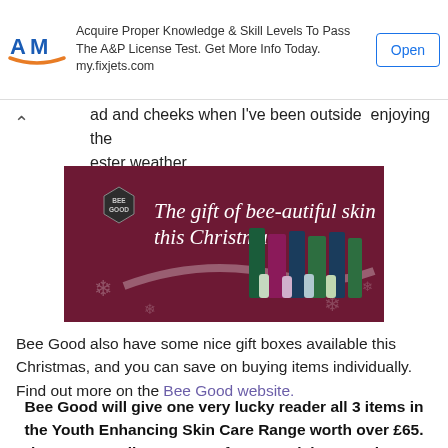[Figure (other): Advertisement banner with AM logo, text 'Acquire Proper Knowledge & Skill Levels To Pass The A&P License Test. Get More Info Today. my.fixjets.com' and an Open button]
ad and cheeks when I've been outside  enjoying  the ester weather.
[Figure (other): Bee Good skincare advertisement with dark red background showing 'The gift of bee-autiful skin this Christmas' with product images and Bee Good hexagon logo]
Bee Good also have some nice gift boxes available this Christmas, and you can save on buying items individually. Find out more on the Bee Good website.
Bee Good will give one very lucky reader all 3 items in the Youth Enhancing Skin Care Range worth over £65. That's an excellent present for a special person in your life, or for yourself (because it's Christmas).
Entry to the giveaway is by Gleam form below. No entry is